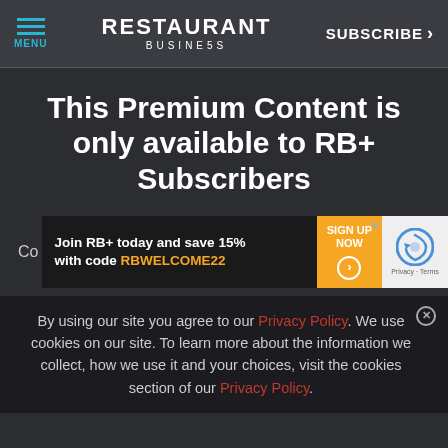MENU | RESTAURANT BUSINESS | SUBSCRIBE >
This Premium Content is only available to RB+ Subscribers
[Figure (screenshot): Promotional banner: Join RB+ today and save 15% with code RBWELCOME22 | SIGN UP NOW button | reCAPTCHA widget with Privacy - Terms]
By using our site you agree to our Privacy Policy. We use cookies on our site. To learn more about the information we collect, how we use it and your choices, visit the cookies section of our Privacy Policy.